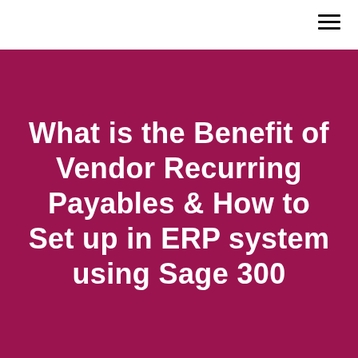What is the Benefit of Vendor Recurring Payables & How to Set up in ERP system using Sage 300